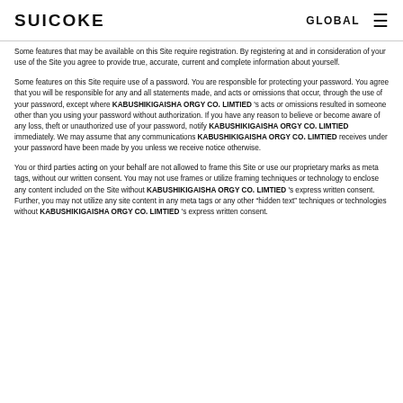SUICOKE   GLOBAL ≡
Some features that may be available on this Site require registration. By registering at and in consideration of your use of the Site you agree to provide true, accurate, current and complete information about yourself.
Some features on this Site require use of a password. You are responsible for protecting your password. You agree that you will be responsible for any and all statements made, and acts or omissions that occur, through the use of your password, except where KABUSHIKIGAISHA ORGY CO. LIMTIED 's acts or omissions resulted in someone other than you using your password without authorization. If you have any reason to believe or become aware of any loss, theft or unauthorized use of your password, notify KABUSHIKIGAISHA ORGY CO. LIMTIED immediately. We may assume that any communications KABUSHIKIGAISHA ORGY CO. LIMTIED receives under your password have been made by you unless we receive notice otherwise.
You or third parties acting on your behalf are not allowed to frame this Site or use our proprietary marks as meta tags, without our written consent. You may not use frames or utilize framing techniques or technology to enclose any content included on the Site without KABUSHIKIGAISHA ORGY CO. LIMTIED 's express written consent. Further, you may not utilize any site content in any meta tags or any other "hidden text" techniques or technologies without KABUSHIKIGAISHA ORGY CO. LIMTIED 's express written consent.